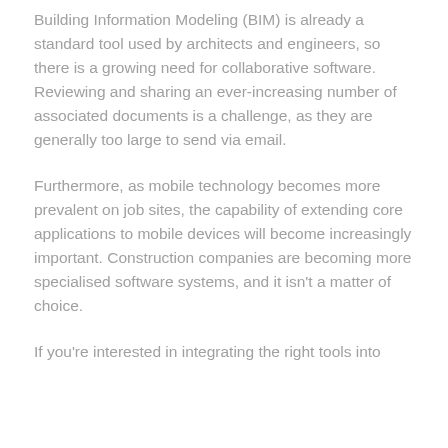Building Information Modeling (BIM) is already a standard tool used by architects and engineers, so there is a growing need for collaborative software. Reviewing and sharing an ever-increasing number of associated documents is a challenge, as they are generally too large to send via email.
Furthermore, as mobile technology becomes more prevalent on job sites, the capability of extending core applications to mobile devices will become increasingly important. Construction companies are becoming more specialised software systems, and it isn't a matter of choice.
If you're interested in integrating the right tools into